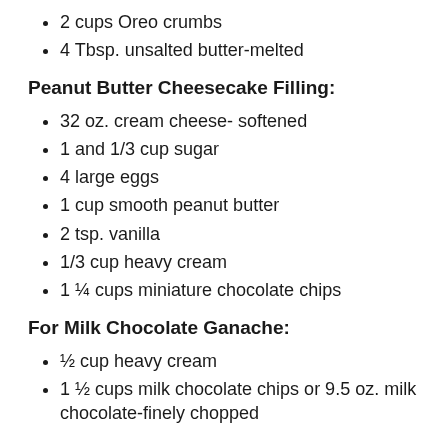2 cups Oreo crumbs
4 Tbsp. unsalted butter-melted
Peanut Butter Cheesecake Filling:
32 oz. cream cheese- softened
1 and 1/3 cup sugar
4 large eggs
1 cup smooth peanut butter
2 tsp. vanilla
1/3 cup heavy cream
1 ¼ cups miniature chocolate chips
For Milk Chocolate Ganache:
½ cup heavy cream
1 ½ cups milk chocolate chips or 9.5 oz. milk chocolate-finely chopped